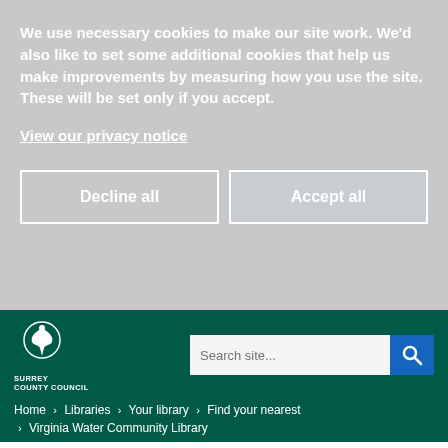We use necessary cookies to make our site work. We'd also like to set some additional cookies that help us make improvements by measuring how you use the site. These will be set only if you accept.
View our privacy notice
Decline all
Accept all
[Figure (logo): Surrey County Council logo — white tree/leaf emblem above text reading SURREY COUNTY COUNCIL]
Search site...
Home > Libraries > Your library > Find your nearest > Virginia Water Community Library
[Figure (photo): Blurred photo of library books/tablets with colorful LIBRARY text partially visible at bottom]